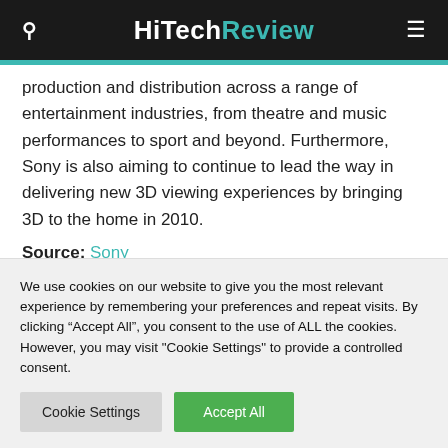HiTechReview
production and distribution across a range of entertainment industries, from theatre and music performances to sport and beyond. Furthermore, Sony is also aiming to continue to lead the way in delivering new 3D viewing experiences by bringing 3D to the home in 2010.
Source: Sony
We use cookies on our website to give you the most relevant experience by remembering your preferences and repeat visits. By clicking “Accept All”, you consent to the use of ALL the cookies. However, you may visit "Cookie Settings" to provide a controlled consent.